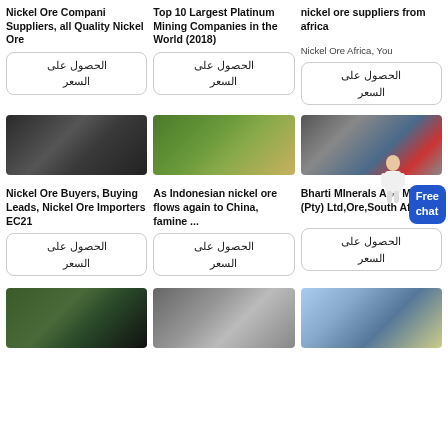Nickel Ore Compani Suppliers, all Quality Nickel Ore
Top 10 Largest Platinum Mining Companies in the World (2018)
nickel ore suppliers from africa
Nickel Ore Africa, You
الحصول على السعر
الحصول على السعر
الحصول على السعر
[Figure (photo): Industrial ore processing machine, dark metallic equipment]
[Figure (photo): Green mining equipment outdoors]
[Figure (photo): Industrial mining machinery in warehouse]
Nickel Ore Buyers, Buying Leads, Nickel Ore Importers EC21
As Indonesian nickel ore flows again to China, famine ...
Bharti MInerals And Mining (Pty) Ltd,Ore,South Africa
الحصول على السعر
الحصول على السعر
الحصول على السعر
[Figure (photo): Aerial view of dark mineral/ore pile with green elements]
[Figure (photo): Close-up of metal mechanical part]
[Figure (photo): Large crane/machinery outdoors, sky background]